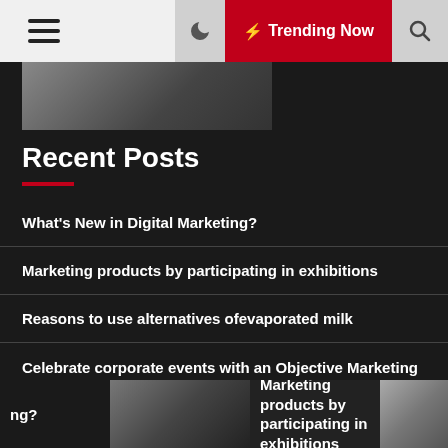Navigation bar with hamburger menu, moon icon, Trending Now button, search icon
[Figure (photo): Thumbnail image of a building/structure, partial view at top]
Recent Posts
What’s New in Digital Marketing?
Marketing products by participating in exhibitions
Reasons to use alternatives ofevaporated milk
Celebrate corporate events with an Objective Marketing Target
Reasons to opt for flower delivery services
ng?  [image]  Marketing products by participating in exhibitions  [image]